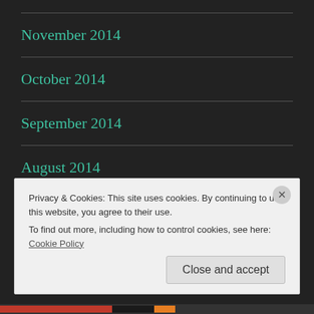November 2014
October 2014
September 2014
August 2014
July 2014
Privacy & Cookies: This site uses cookies. By continuing to use this website, you agree to their use.
To find out more, including how to control cookies, see here: Cookie Policy
Close and accept